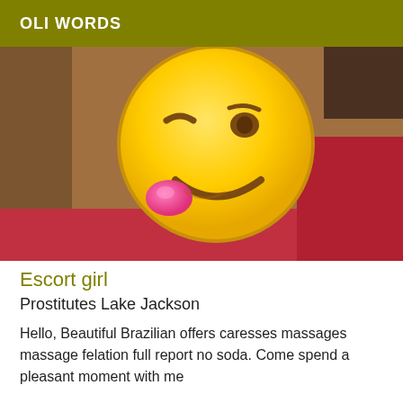OLI WORDS
[Figure (photo): A large emoji face — winking face with tongue out (yellow smiley, one eye winking, tongue sticking out, pink tongue) placed against a background of brown and red fabric/cushions.]
Escort girl
Prostitutes Lake Jackson
Hello, Beautiful Brazilian offers caresses massages massage felation full report no soda. Come spend a pleasant moment with me